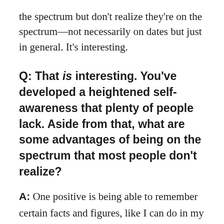the spectrum but don't realize they're on the spectrum—not necessarily on dates but just in general. It's interesting.
Q: That is interesting. You've developed a heightened self-awareness that plenty of people lack. Aside from that, what are some advantages of being on the spectrum that most people don't realize?
A: One positive is being able to remember certain facts and figures, like I can do in my job now, with the details of insurance rules and policies. As a kid, I would memorize